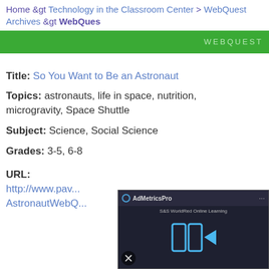Home &gt Technology in the Classroom Center > WebQuest Archives &gt WebQues
WEBQUEST
Title: So You Want to Be an Astronaut
Topics: astronauts, life in space, nutrition, microgravity, Space Shuttle
Subject: Science, Social Science
Grades: 3-5, 6-8
[Figure (screenshot): AdMetricsPro video ad overlay showing a video player with blue play arrows and S&S WorldRed Online Learning branding on dark background]
URL:
http://www.pav... AstronautWebQ...